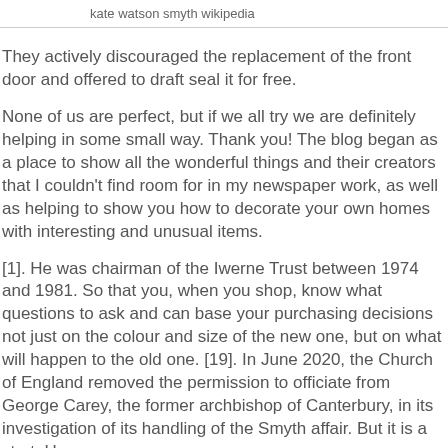kate watson smyth wikipedia
They actively discouraged the replacement of the front door and offered to draft seal it for free.
None of us are perfect, but if we all try we are definitely helping in some small way. Thank you! The blog began as a place to show all the wonderful things and their creators that I couldn't find room for in my newspaper work, as well as helping to show you how to decorate your own homes with interesting and unusual items.
[1]. He was chairman of the Iwerne Trust between 1974 and 1981. So that you, when you shop, know what questions to ask and can base your purchasing decisions not just on the colour and size of the new one, but on what will happen to the old one. [19]. In June 2020, the Church of England removed the permission to officiate from George Carey, the former archbishop of Canterbury, in its investigation of its handling of the Smyth affair. But it is a start. He